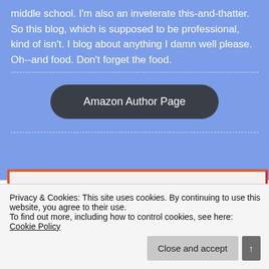middle school. I'm also an inveterate this-and-thatter. So this blog, which is supposed to be professional, kind of isn't. I blog about anything I damn well please. Oh--and food. Don't forget the food.
Amazon Author Page
[Figure (screenshot): Partial view of a book/writing card widget with a logo and text 'I'm writing a' and URL storyaday.org]
Privacy & Cookies: This site uses cookies. By continuing to use this website, you agree to their use.
To find out more, including how to control cookies, see here: Cookie Policy
Close and accept